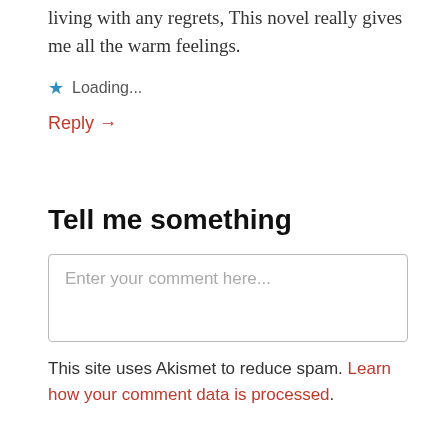living with any regrets, This novel really gives me all the warm feelings.
★ Loading...
Reply →
Tell me something
Enter your comment here...
This site uses Akismet to reduce spam. Learn how your comment data is processed.